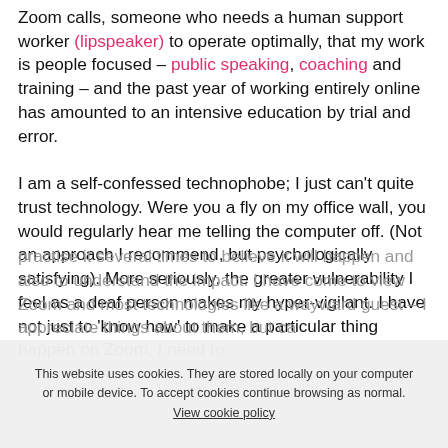Zoom calls, someone who needs a human support worker (lipspeaker) to operate optimally, that my work is people focused – public speaking, coaching and training – and the past year of working entirely online has amounted to an intensive education by trial and error.

I am a self-confessed technophobe; I just can't quite trust technology. Were you a fly on my office wall, you would regularly hear me telling the computer off. (Not an approach I recommend, but psychologically satisfying). More seriously, the greater vulnerability I feel as a deaf person makes my hyper-vigilant. I have not just to 'know how' to make a particular thing happen on Zoom, I need to practise it several times to believe it will happen and also to understand the impact. I have come to view Zoom and most technologies like a wayward guest – I appreciate things about them, but ca
This website uses cookies. They are stored locally on your computer or mobile device. To accept cookies continue browsing as normal. View cookie policy